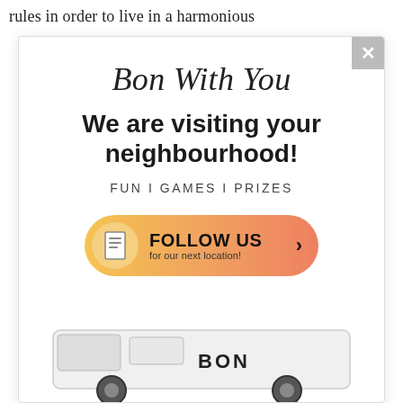rules in order to live in a harmonious
Bon With You
We are visiting your neighbourhood!
FUN I GAMES I PRIZES
[Figure (infographic): Orange gradient pill-shaped button with document icon on left, text 'FOLLOW US' in bold, 'for our next location!' in smaller text, and a right-pointing chevron arrow]
[Figure (photo): Bottom portion of a white van with 'BON' branding visible, shown from the side at the bottom of the popup]